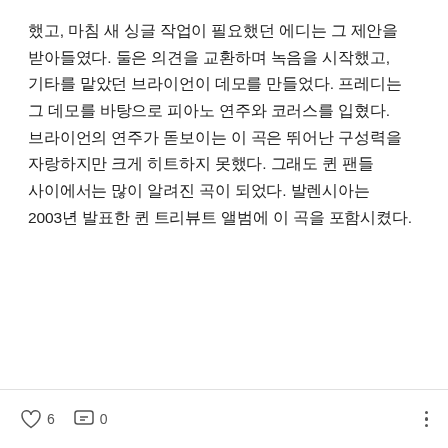했고, 마침 새 싱글 작업이 필요했던 에디는 그 제안을 받아들였다. 둘은 의견을 교환하며 녹음을 시작했고, 기타를 맡았던 브라이언이 데모를 만들었다. 프레디는 그 데모를 바탕으로 피아노 연주와 코러스를 입혔다. 브라이언의 연주가 돋보이는 이 곡은 뛰어난 구성력을 자랑하지만 크게 히트하지 못했다. 그래도 퀸 팬들 사이에서는 많이 알려진 곡이 되었다. 발렌시아는 2003년 발표한 퀸 트리뷰트 앨범에 이 곡을 포함시켰다.
♡ 6   💬 0